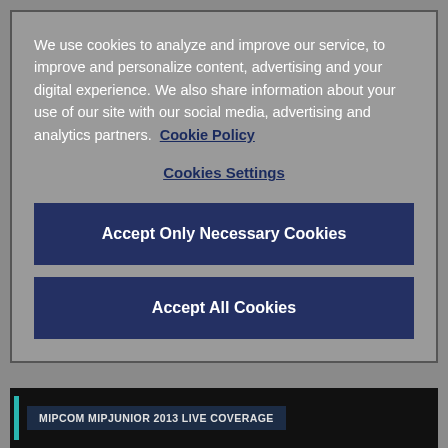We use cookies to analyze and improve our service, to improve and personalize content, advertising and your digital experience. We also share information about your use of our site with our social media, advertising and analytics partners.  Cookie Policy
Cookies Settings
Accept Only Necessary Cookies
Accept All Cookies
The MIPJunior market is bustling this year, but what are buyers looking for? An ‘acquisition...
MIPCOM MIPJUNIOR 2013 LIVE COVERAGE